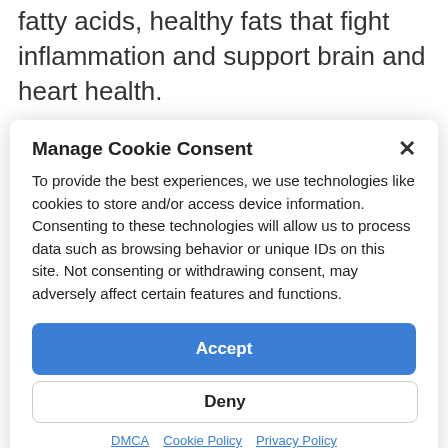fatty acids, healthy fats that fight inflammation and support brain and heart health.
In addition to being low in specific nutrients,
these diets can actually interfere with nutrient absorption. One reason for this is
these diets can actually interfere with nutrient absorption. He ratio of…
Manage Cookie Consent
To provide the best experiences, we use technologies like cookies to store and/or access device information. Consenting to these technologies will allow us to process data such as browsing behavior or unique IDs on this site. Not consenting or withdrawing consent, may adversely affect certain features and functions.
Accept
Deny
DMCA · Cookie Policy · Privacy Policy